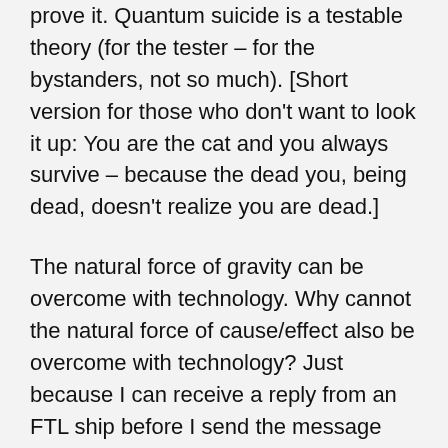prove it. Quantum suicide is a testable theory (for the tester – for the bystanders, not so much). [Short version for those who don't want to look it up: You are the cat and you always survive – because the dead you, being dead, doesn't realize you are dead.]
The natural force of gravity can be overcome with technology. Why cannot the natural force of cause/effect also be overcome with technology? Just because I can receive a reply from an FTL ship before I send the message doesn't mean I'll start going to the bathroom before drinking a beer any more than launching the ship out of the gravity well means water is